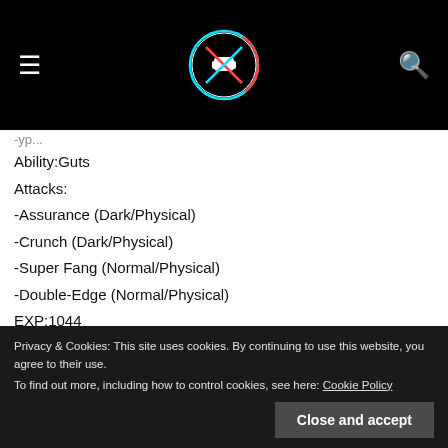≡  [logo]  🔍
Ability:Guts
Attacks:
-Assurance (Dark/Physical)
-Crunch (Dark/Physical)
-Super Fang (Normal/Physical)
-Double-Edge (Normal/Physical)
EXP:1044
Go to the right and down the ledge. Keep heading West and you'll encounter another trainer in the grass:
Privacy & Cookies: This site uses cookies. By continuing to use this website, you agree to their use.
To find out more, including how to control cookies, see here: Cookie Policy
Attacks: